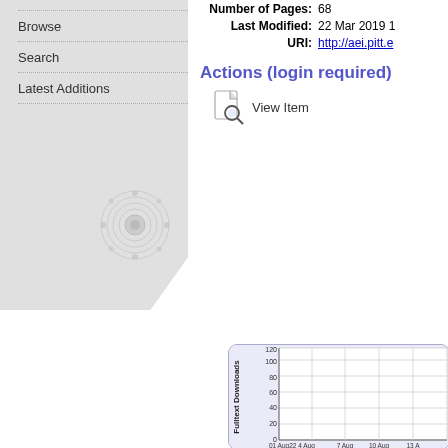Browse
Search
Latest Additions
Number of Pages: 68
Last Modified: 22 Mar 2019 1
URI: http://aei.pitt.e
Actions (login required)
View Item
[Figure (line-chart): Line chart showing Fulltext Downloads over time from 01 Aug to 13 Aug. Y-axis ranges from 0 to 120 with gridlines at 20, 40, 60, 80, 100, 120. The chart appears to show near-zero downloads.]